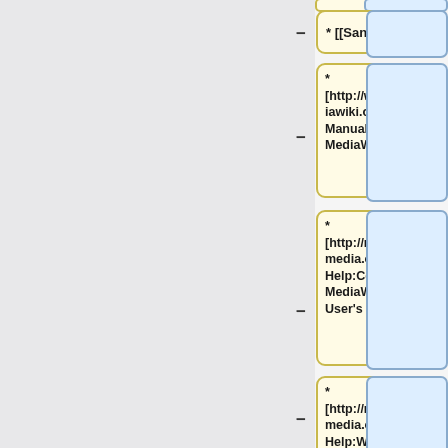[Figure (screenshot): Wiki diff/comparison interface showing a two-column layout with yellow content boxes on the left (showing wiki markup text) and blue empty boxes on the right, with minus and plus signs indicating removed/added content. Four rows visible: '* [[Sandbox]]', '* [http://www.mediawiki.org/wiki/Manual:FAQ MediaWiki FAQ]', '* [http://meta.wikimedia.org/wiki/Help:Contents MediaWiki User's Guide]', '* [http://meta.wikimedia.org/wiki/Help:Wikitext Examples of Wiki markup text]']